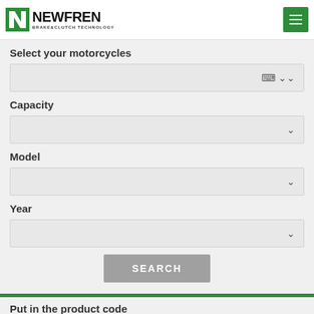[Figure (logo): Newfren Brake & Clutch Technology logo with green N icon and hamburger menu button]
Select your motorcycles
[Figure (other): Dropdown selector (empty) for motorcycle brand selection]
Capacity
[Figure (other): Dropdown selector (empty) for capacity selection]
Model
[Figure (other): Dropdown selector (empty) for model selection]
Year
[Figure (other): Dropdown selector (empty) for year selection]
SEARCH
Put in the product code